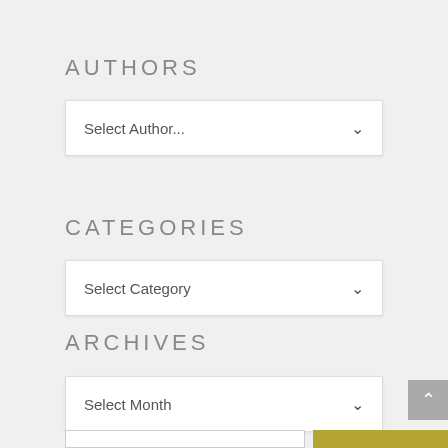AUTHORS
Select Author...
CATEGORIES
Select Category
ARCHIVES
Select Month